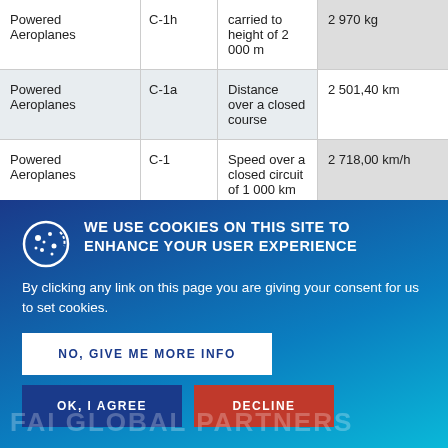| Category | Class | Record Type | Value |
| --- | --- | --- | --- |
| Powered Aeroplanes | C-1h | carried to height of 2 000 m | 2 970 kg |
| Powered Aeroplanes | C-1a | Distance over a closed course | 2 501,40 km |
| Powered Aeroplanes | C-1 | Speed over a closed circuit of 1 000 km without payload | 2 718,00 km/h |
| Powered Aeroplanes | C-1 | Speed over a straight 15/25 km course | 2 585,425 km/h |
WE USE COOKIES ON THIS SITE TO ENHANCE YOUR USER EXPERIENCE
By clicking any link on this page you are giving your consent for us to set cookies.
NO, GIVE ME MORE INFO
OK, I AGREE
DECLINE